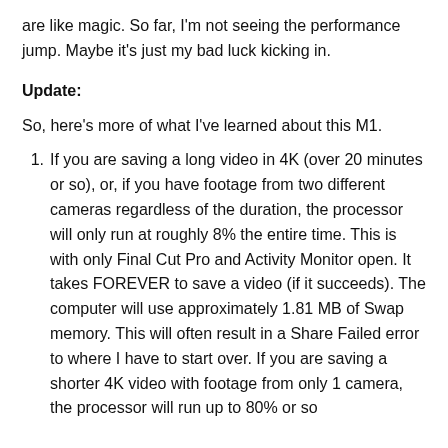are like magic. So far, I'm not seeing the performance jump. Maybe it's just my bad luck kicking in.
Update:
So, here's more of what I've learned about this M1.
If you are saving a long video in 4K (over 20 minutes or so), or, if you have footage from two different cameras regardless of the duration, the processor will only run at roughly 8% the entire time. This is with only Final Cut Pro and Activity Monitor open. It takes FOREVER to save a video (if it succeeds). The computer will use approximately 1.81 MB of Swap memory. This will often result in a Share Failed error to where I have to start over. If you are saving a shorter 4K video with footage from only 1 camera, the processor will run up to 80% or so